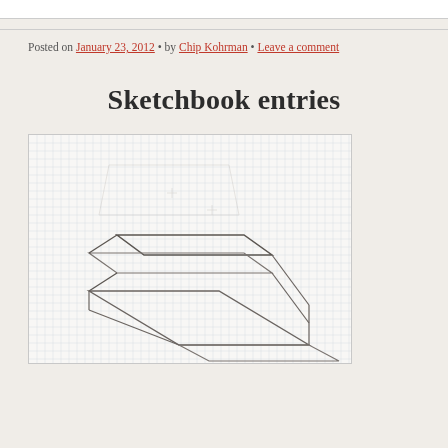Posted on January 23, 2012 • by Chip Kohrman • Leave a comment
Sketchbook entries
[Figure (illustration): Sketchbook page on graph paper showing pencil sketches of angular/architectural forms — parallelogram shapes drawn in perspective, resembling stacked flat planes or platforms. Light pencil construction lines visible above the darker inked/outlined shapes.]